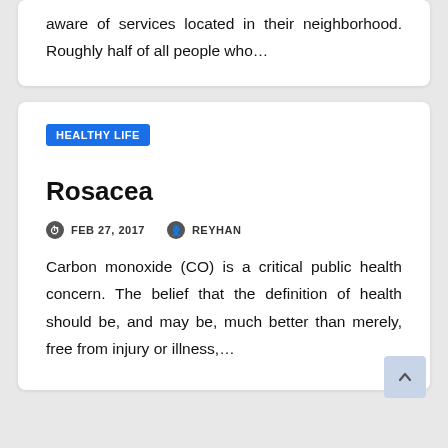aware of services located in their neighborhood. Roughly half of all people who…
HEALTHY LIFE
Rosacea
FEB 27, 2017   REYHAN
Carbon monoxide (CO) is a critical public health concern. The belief that the definition of health should be, and may be, much better than merely, free from injury or illness,…